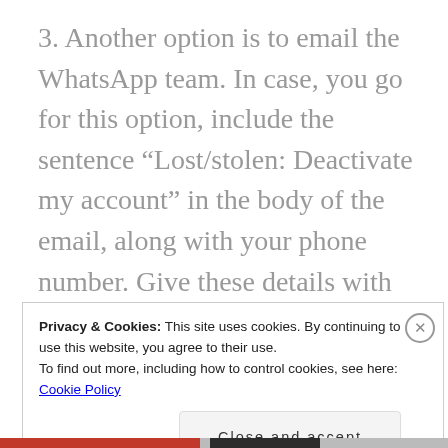3. Another option is to email the WhatsApp team. In case, you go for this option, include the sentence “Lost/stolen: Deactivate my account” in the body of the email, along with your phone number. Give these details with your country code. Also, remember to write your number exactly as you have it saved in your smartphone.
Privacy & Cookies: This site uses cookies. By continuing to use this website, you agree to their use.
To find out more, including how to control cookies, see here: Cookie Policy